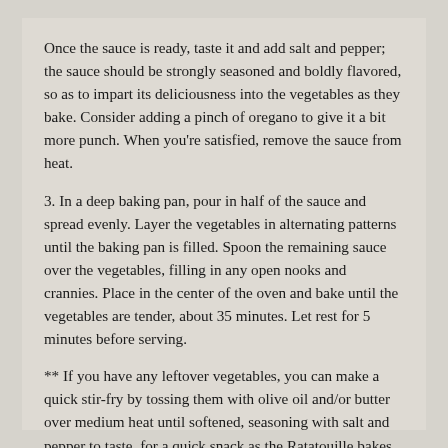Once the sauce is ready, taste it and add salt and pepper; the sauce should be strongly seasoned and boldly flavored, so as to impart its deliciousness into the vegetables as they bake. Consider adding a pinch of oregano to give it a bit more punch. When you're satisfied, remove the sauce from heat.
3. In a deep baking pan, pour in half of the sauce and spread evenly. Layer the vegetables in alternating patterns until the baking pan is filled. Spoon the remaining sauce over the vegetables, filling in any open nooks and crannies. Place in the center of the oven and bake until the vegetables are tender, about 35 minutes. Let rest for 5 minutes before serving.
** If you have any leftover vegetables, you can make a quick stir-fry by tossing them with olive oil and/or butter over medium heat until softened, seasoning with salt and pepper to taste, for a quick snack as the Ratatouille bakes.